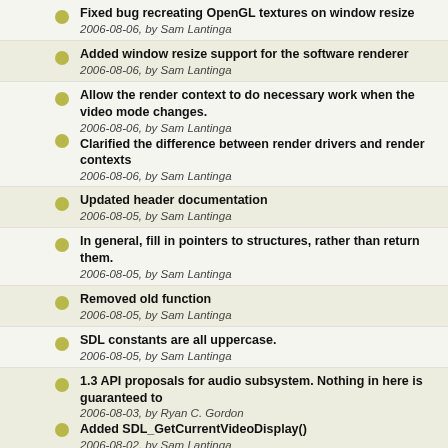Fixed bug recreating OpenGL textures on window resize
2006-08-06, by Sam Lantinga
Added window resize support for the software renderer
2006-08-06, by Sam Lantinga
Allow the render context to do necessary work when the video mode changes.
2006-08-06, by Sam Lantinga
Clarified the difference between render drivers and render contexts
2006-08-06, by Sam Lantinga
Updated header documentation
2006-08-05, by Sam Lantinga
In general, fill in pointers to structures, rather than return them.
2006-08-05, by Sam Lantinga
Removed old function
2006-08-05, by Sam Lantinga
SDL constants are all uppercase.
2006-08-05, by Sam Lantinga
1.3 API proposals for audio subsystem. Nothing in here is guaranteed to
2006-08-03, by Ryan C. Gordon
Added SDL_GetCurrentVideoDisplay()
2006-08-02, by Sam Lantinga
Hack to stop the beeping
2006-07-30, by Sam Lantinga
Removed debug code. :)
2006-07-30, by Sam Lantinga